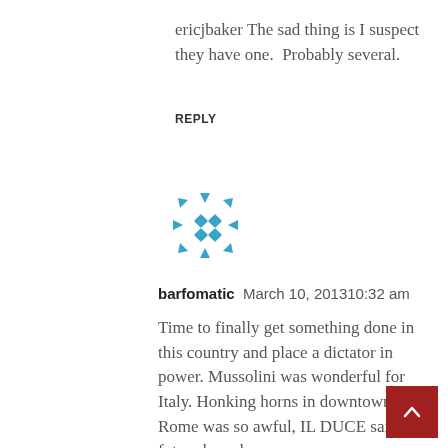ericjbaker The sad thing is I suspect they have one.  Probably several.
REPLY
[Figure (logo): Round blue geometric snowflake-like avatar icon with diamond shapes and arrow points arranged in a circle]
barfomatic   March 10, 201310:32 am
Time to finally get something done in this country and place a dictator in power. Mussolini was wonderful for Italy. Honking horns in downtown Rome was so awful, IL DUCE said all future horn-honers